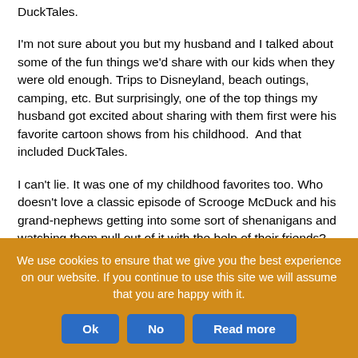DuckTales.

I'm not sure about you but my husband and I talked about some of the fun things we'd share with our kids when they were old enough. Trips to Disneyland, beach outings, camping, etc. But surprisingly, one of the top things my husband got excited about sharing with them first were his favorite cartoon shows from his childhood. And that included DuckTales.

I can't lie. It was one of my childhood favorites too. Who doesn't love a classic episode of Scrooge McDuck and his grand-nephews getting into some sort of shenanigans and watching them pull out of it with the help of their friends? So when DuckTales relaunched with their new spin-off from the classic version, my husband was the first to take note of the release date. And my middle child got hooked on that first episode. So imagine her surprise when she received the new
We use cookies to ensure that we give you the best experience on our website. If you continue to use this site we will assume that you are happy with it.